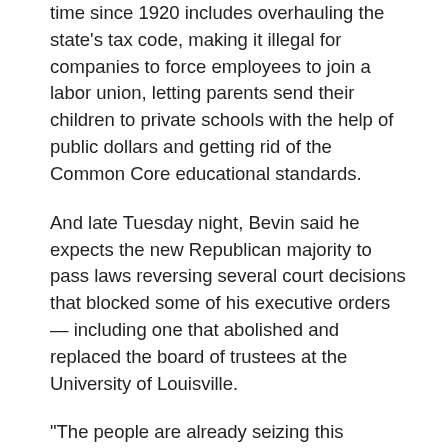time since 1920 includes overhauling the state's tax code, making it illegal for companies to force employees to join a labor union, letting parents send their children to private schools with the help of public dollars and getting rid of the Common Core educational standards.
And late Tuesday night, Bevin said he expects the new Republican majority to pass laws reversing several court decisions that blocked some of his executive orders — including one that abolished and replaced the board of trustees at the University of Louisville.
"The people are already seizing this chance before them," Bevin said during an appearance on WHAS radio. "Over the next generation you will see Kentucky become a beacon to America for what it means to be open for business."
Kentucky has long resisted becoming a right-to-work state because of union opposition. The that the law has long been...